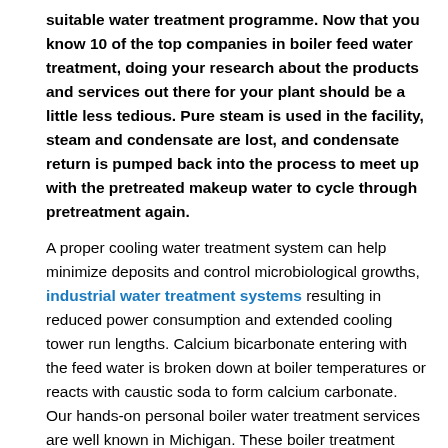suitable water treatment programme. Now that you know 10 of the top companies in boiler feed water treatment, doing your research about the products and services out there for your plant should be a little less tedious. Pure steam is used in the facility, steam and condensate are lost, and condensate return is pumped back into the process to meet up with the pretreated makeup water to cycle through pretreatment again.
A proper cooling water treatment system can help minimize deposits and control microbiological growths, industrial water treatment systems resulting in reduced power consumption and extended cooling tower run lengths. Calcium bicarbonate entering with the feed water is broken down at boiler temperatures or reacts with caustic soda to form calcium carbonate. Our hands-on personal boiler water treatment services are well known in Michigan. These boiler treatment chemicals ensure that any hardness slippage is converted into a mobile sludge which can be removed by steam boiler blowdown and so doesn't form boiler